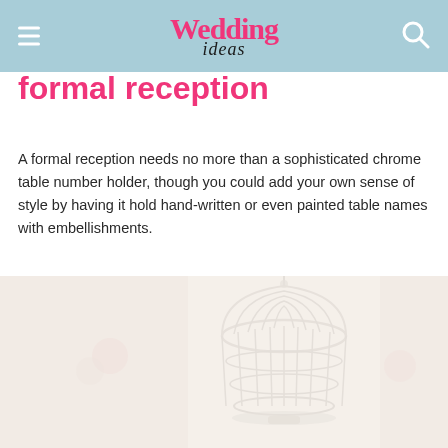Wedding ideas
formal reception
A formal reception needs no more than a sophisticated chrome table number holder, though you could add your own sense of style by having it hold hand-written or even painted table names with embellishments.
[Figure (photo): Faded/washed out photograph showing decorative wedding table items including a white birdcage centerpiece, arranged in a collage-style layout with multiple overlapping images.]